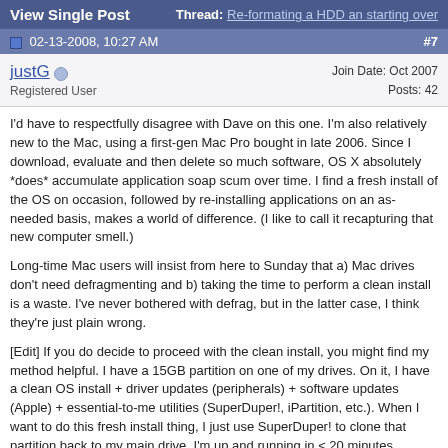View Single Post | Thread: Re-formating a HDD an starting over
02-13-2008, 10:27 AM #7
justG
Registered User
Join Date: Oct 2007
Posts: 42
I'd have to respectfully disagree with Dave on this one. I'm also relatively new to the Mac, using a first-gen Mac Pro bought in late 2006. Since I download, evaluate and then delete so much software, OS X absolutely *does* accumulate application soap scum over time. I find a fresh install of the OS on occasion, followed by re-installing applications on an as-needed basis, makes a world of difference. (I like to call it recapturing that new computer smell.)
Long-time Mac users will insist from here to Sunday that a) Mac drives don't need defragmenting and b) taking the time to perform a clean install is a waste. I've never bothered with defrag, but in the latter case, I think they're just plain wrong.
[Edit] If you do decide to proceed with the clean install, you might find my method helpful. I have a 15GB partition on one of my drives. On it, I have a clean OS install + driver updates (peripherals) + software updates (Apple) + essential-to-me utilities (SuperDuper!, iPartition, etc.). When I want to do this fresh install thing, I just use SuperDuper! to clone that partition back to my main drive. I'm up and running in < 20 minutes.
Hope that helps!
Last edited by justG; 02-13-2008 at 10:31 AM. Reason: Added some info.